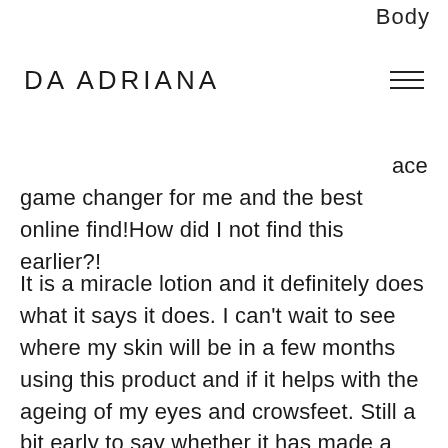Body
DA ADRIANA
ace game changer for me and the best online find!How did I not find this earlier?!
It is a miracle lotion and it definitely does what it says it does. I can't wait to see where my skin will be in a few months using this product and if it helps with the ageing of my eyes and crowsfeet. Still a bit early to say whether it has made a huge difference but from the results on my scars and finish of the product on my skin plus my elbows not being so dry, I am excited to see my future results!